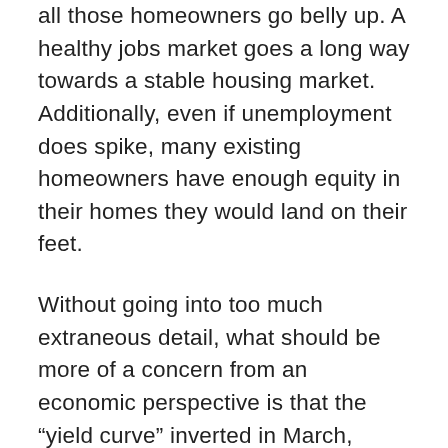all those homeowners go belly up. A healthy jobs market goes a long way towards a stable housing market. Additionally, even if unemployment does spike, many existing homeowners have enough equity in their homes they would land on their feet.
Without going into too much extraneous detail, what should be more of a concern from an economic perspective is that the “yield curve” inverted in March, which is the one of the best leading indicators of a recession. Once this change happens, it takes 18 months on average for a recession to occur. We have already begun to see some investor panic in the current “bear” stock market. The good